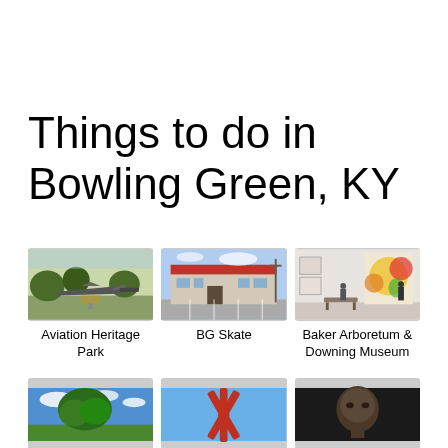Things to do in Bowling Green, KY
[Figure (photo): Aviation Heritage Park - military jet aircraft on display outdoors]
Aviation Heritage Park
[Figure (photo): BG Skate - building exterior with red roof and parking lot]
BG Skate
[Figure (photo): Baker Arboretum & Downing Museum - interior gallery with colorful artwork]
Baker Arboretum & Downing Museum
[Figure (photo): Park with large tree and green lawn]
[Figure (photo): Red metal asterisk/star sculpture against blue sky]
[Figure (photo): Dark portrait photo of a person's face]